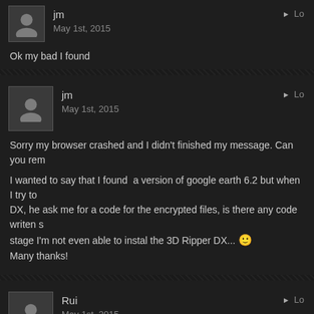jm
May 1st, 2015
Ok my bad I found
jm
May 1st, 2015
Sorry my browser crashed and I didn't finished my message. Can you rem...
I wanted to say that I found  a version of google earth 6.2 but when I try to... DX, he ask me for a code for the encrypted files, is there any code writen s... stage I'm not even able to instal the 3D Ripper DX... 🙂
Many thanks!
Rui
May 1st, 2015
Hi Brian! I have tried to use this method multiple times but i never achieve... my 3DStudio Max doesn't display the imported model. I can get all the ste... but when it imports i get's no errors but simple i can't find the model.
I am working in an architecture project, any help and i will be very grathe...